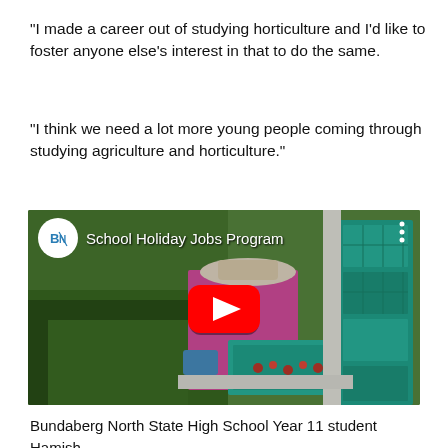"I made a career out of studying horticulture and I'd like to foster anyone else's interest in that to do the same.
"I think we need a lot more young people coming through studying agriculture and horticulture."
[Figure (screenshot): YouTube video thumbnail showing a person in a pink shirt and hat picking strawberries into a teal crate, with teal storage crates stacked on the right. A red YouTube play button is overlaid in the center. The video is titled 'School Holiday Jobs Program' with a channel icon (BN logo) in the top left.]
Bundaberg North State High School Year 11 student Hamish